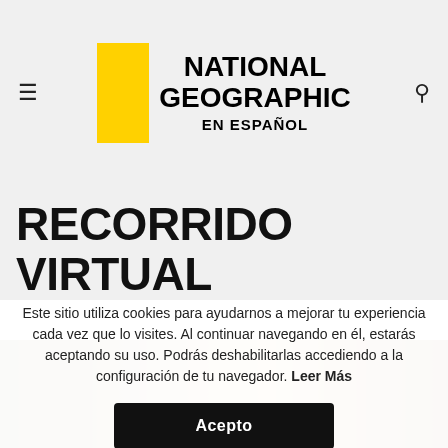[Figure (logo): National Geographic en Español logo with yellow rectangle border and bold black text]
RECORRIDO VIRTUAL
[Figure (photo): Partial photo strip visible at bottom of page behind cookie overlay]
Este sitio utiliza cookies para ayudarnos a mejorar tu experiencia cada vez que lo visites. Al continuar navegando en él, estarás aceptando su uso. Podrás deshabilitarlas accediendo a la configuración de tu navegador. Leer Más
Acepto